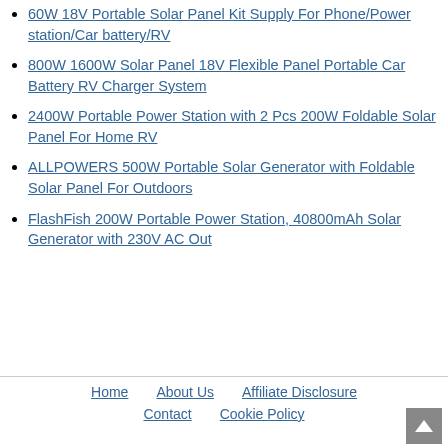60W 18V Portable Solar Panel Kit Supply For Phone/Power station/Car battery/RV
800W 1600W Solar Panel 18V Flexible Panel Portable Car Battery RV Charger System
2400W Portable Power Station with 2 Pcs 200W Foldable Solar Panel For Home RV
ALLPOWERS 500W Portable Solar Generator with Foldable Solar Panel For Outdoors
FlashFish 200W Portable Power Station, 40800mAh Solar Generator with 230V AC Out
Home   About Us   Affiliate Disclosure   Contact   Cookie Policy